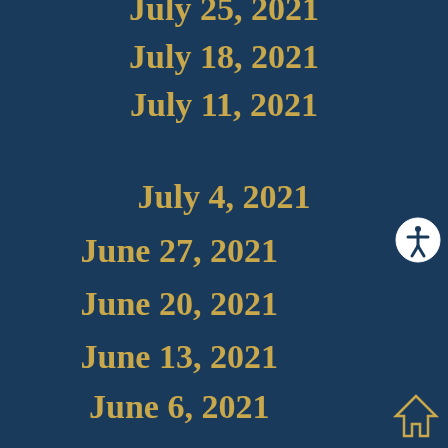July 25, 2021
July 18, 2021
July 11, 2021
July 4, 2021
June 27, 2021
June 20, 2021
June 13, 2021
June 6, 2021
May 30, 2021
[Figure (illustration): Accessibility icon (white circle with person figure) in bottom-right area]
[Figure (illustration): Home icon outline in bottom-right corner]